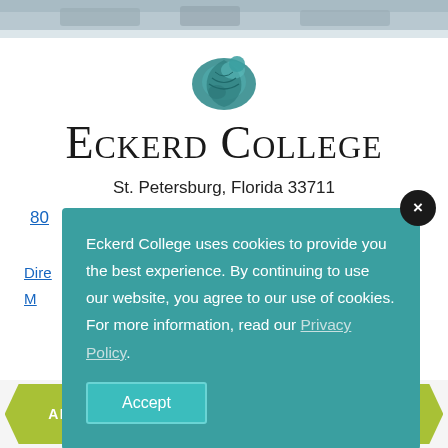[Figure (photo): Top strip photograph of boats/marina scene, partially visible, grayscale/muted tones]
[Figure (logo): Eckerd College shell/snail logo icon in teal color]
Eckerd College
St. Petersburg, Florida 33711
80...
Dire...
M...
Eckerd College uses cookies to provide you the best experience. By continuing to use our website, you agree to our use of cookies. For more information, read our Privacy Policy.
Accept
APPLY
VISIT
INQUIRE